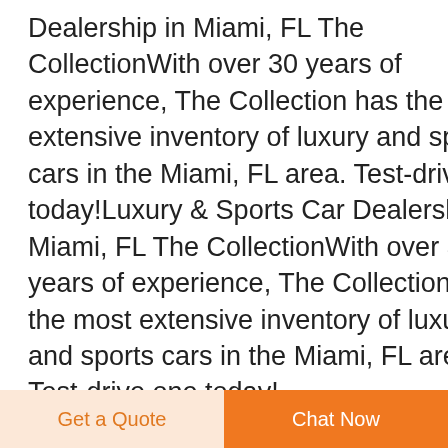Dealership in Miami, FL The CollectionWith over 30 years of experience, The Collection has the most extensive inventory of luxury and sports cars in the Miami, FL area. Test-drive one today!Luxury & Sports Car Dealership in Miami, FL The CollectionWith over 30 years of experience, The Collection has the most extensive inventory of luxury and sports cars in the Miami, FL area. Test-drive one today!
[Figure (other): Dark navy blue circular scroll-to-top button with white upward arrow and a horizontal line at the top]
buy flow regulator with extension tube for sale in Armenia
Get a Quote   Chat Now